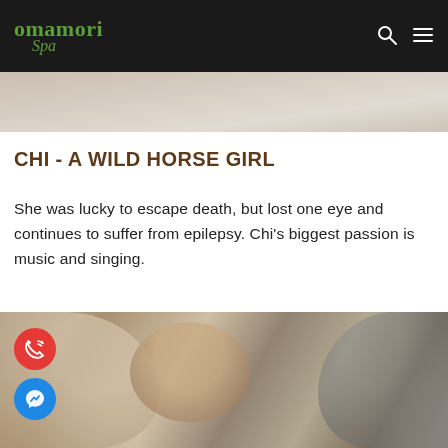omamori Spa
[Figure (photo): Hero banner image — blurred/muted floral or texture background in beige/grey tones]
CHI - A WILD HORSE GIRL
She was lucky to escape death, but lost one eye and continues to suffer from epilepsy. Chi's biggest passion is music and singing.
[Figure (photo): Group of people gathered around a table looking at a book/sheet, including a blonde woman and several Asian individuals]